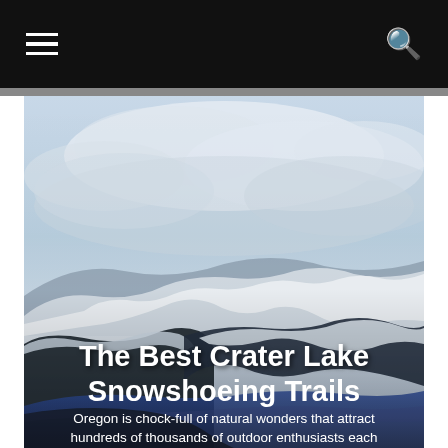≡  🔍
[Figure (photo): Outdoor scenic photograph of Crater Lake area showing snow-covered rocky ridgeline and mountains under a cloudy blue-grey sky, with a lake visible at the bottom. White bold text overlay reads 'The Best Crater Lake Snowshoeing Trails' followed by subtitle text 'Oregon is chock-full of natural wonders that attract hundreds of thousands of outdoor enthusiasts each']